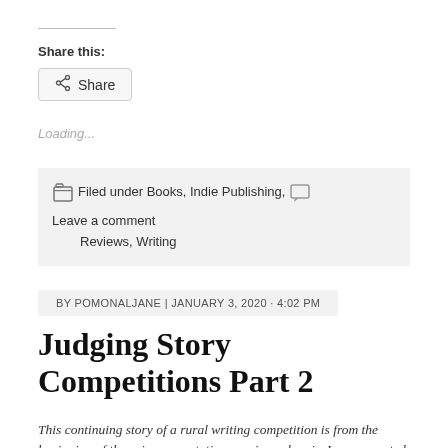Share this:
[Figure (other): Share button with share icon]
Loading...
Filed under Books, Indie Publishing,  Leave a comment Reviews, Writing
BY POMONALJANE | JANUARY 3, 2020 · 4:02 PM
Judging Story Competitions Part 2
This continuing story of a rural writing competition is from the beginning of the prize presentation evening, wherein Jane presented